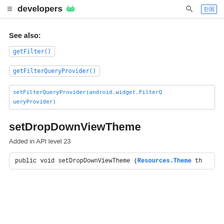≡ developers 🤖
See also:
getFilter()
getFilterQueryProvider()
setFilterQueryProvider(android.widget.FilterQueryProvider)
setDropDownViewTheme
Added in API level 23
public void setDropDownViewTheme (Resources.Theme th